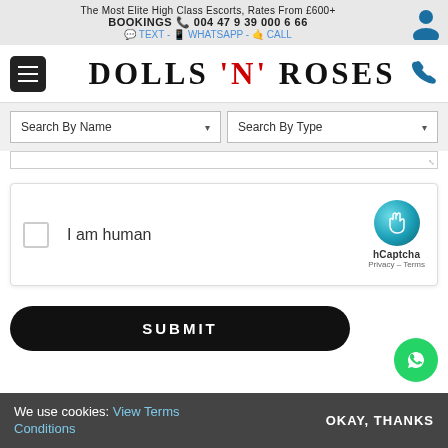The Most Elite High Class Escorts, Rates From £600+
BOOKINGS 📞 004479390006 66
✉ TEXT - 📱 WHATSAPP - 📞 CALL
[Figure (logo): Dolls N Roses website logo with hamburger menu and phone icon]
[Figure (screenshot): Search By Name and Search By Type dropdown selectors]
[Figure (screenshot): hCaptcha I am human checkbox widget]
[Figure (screenshot): SUBMIT button]
We use cookies: View Terms Conditions   OKAY, THANKS